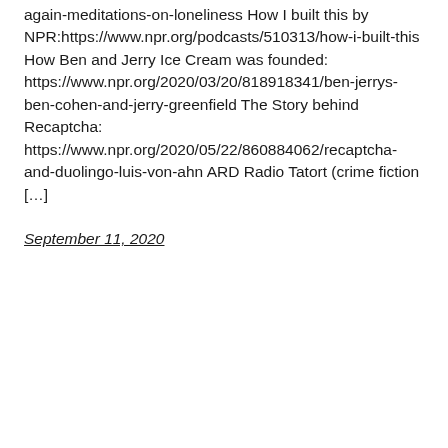again-meditations-on-loneliness How I built this by NPR:https://www.npr.org/podcasts/510313/how-i-built-this How Ben and Jerry Ice Cream was founded: https://www.npr.org/2020/03/20/818918341/ben-jerrys-ben-cohen-and-jerry-greenfield The Story behind Recaptcha: https://www.npr.org/2020/05/22/860884062/recaptcha-and-duolingo-luis-von-ahn ARD Radio Tatort (crime fiction […]
September 11, 2020